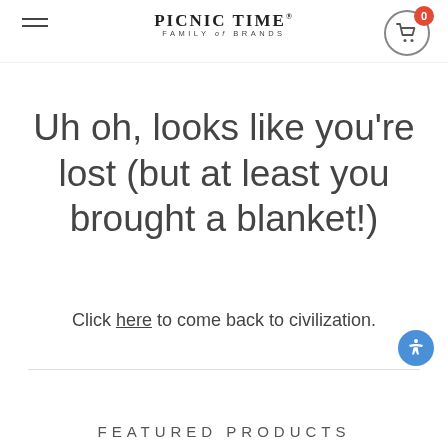PICNIC TIME FAMILY of BRANDS — navigation header with hamburger menu and cart
Uh oh, looks like you're lost (but at least you brought a blanket!)
Click here to come back to civilization.
FEATURED PRODUCTS